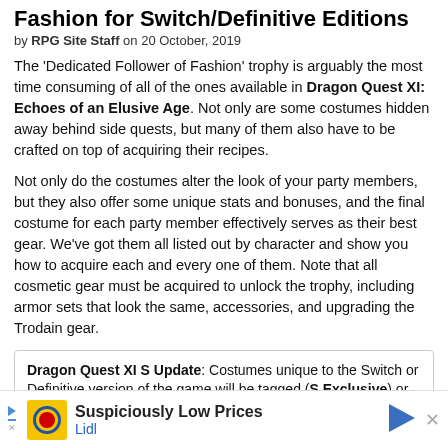Fashion for Switch/Definitive Editions
by RPG Site Staff on 20 October, 2019
The 'Dedicated Follower of Fashion' trophy is arguably the most time consuming of all of the ones available in Dragon Quest XI: Echoes of an Elusive Age. Not only are some costumes hidden away behind side quests, but many of them also have to be crafted on top of acquiring their recipes.
Not only do the costumes alter the look of your party members, but they also offer some unique stats and bonuses, and the final costume for each party member effectively serves as their best gear. We've got them all listed out by character and show you how to acquire each and every one of them. Note that all cosmetic gear must be acquired to unlock the trophy, including armor sets that look the same, accessories, and upgrading the Trodain gear.
Dragon Quest XI S Update: Costumes unique to the Switch or Definitive version of the game will be tagged (S Exclusive) or (S and 3DS Exclusive) if the costume originally appeared on the Japanese-only 3DS version of the game. Costumes that appeared in previous versions is
[Figure (other): Lidl advertisement banner: 'Suspiciously Low Prices' with Lidl logo]